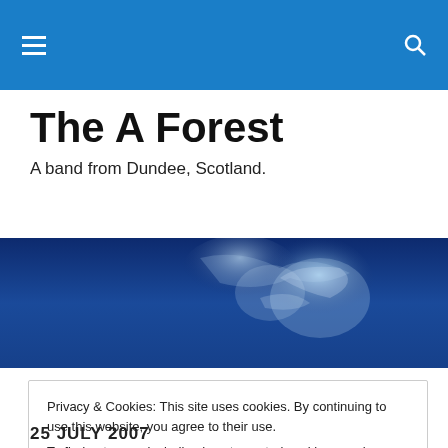The A Forest
A band from Dundee, Scotland.
[Figure (photo): Dark blue atmospheric banner image with misty/smoky light shapes against a deep blue background]
Privacy & Cookies: This site uses cookies. By continuing to use this website, you agree to their use.
To find out more, including how to control cookies, see here: Cookie Policy
Close and accept
25 JULY 2007